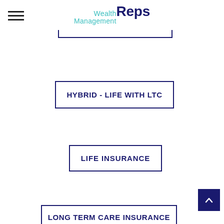Wealth Management Reps
HYBRID - LIFE WITH LTC
LIFE INSURANCE
LONG TERM CARE INSURANCE